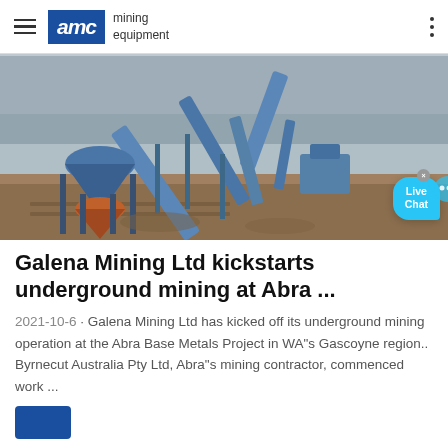AMC mining equipment
[Figure (photo): Outdoor mining equipment including a cone crusher and conveyor belts at a mine site, photographed from above at an angle.]
Galena Mining Ltd kickstarts underground mining at Abra ...
2021-10-6 · Galena Mining Ltd has kicked off its underground mining operation at the Abra Base Metals Project in WA"s Gascoyne region.. Byrnecut Australia Pty Ltd, Abra"s mining contractor, commenced work ...